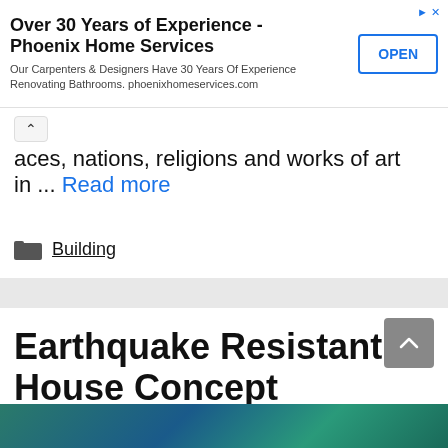[Figure (other): Advertisement banner for Phoenix Home Services with OPEN button]
aces, nations, religions and works of art in ... Read more
Building
Earthquake Resistant House Concept
June 7, 2022 by admin
[Figure (photo): Partial image at bottom of page, appears to be a building or nature scene in teal/blue colors]